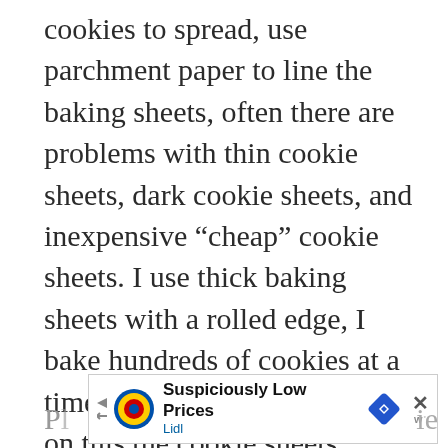cookies to spread, use parchment paper to line the baking sheets, often there are problems with thin cookie sheets, dark cookie sheets, and inexpensive “cheap” cookie sheets. I use thick baking sheets with a rolled edge, I bake hundreds of cookies at a time with no issues, so trust me on this the cookie sheets matter. I use heavy 4 sided rolled edge cookie sheets like they use in bakeries, they are my favorite!
[Figure (other): Advertisement banner for Lidl showing 'Suspiciously Low Prices' with Lidl logo, blue navigation diamond icon, close button (X), and WP logo]